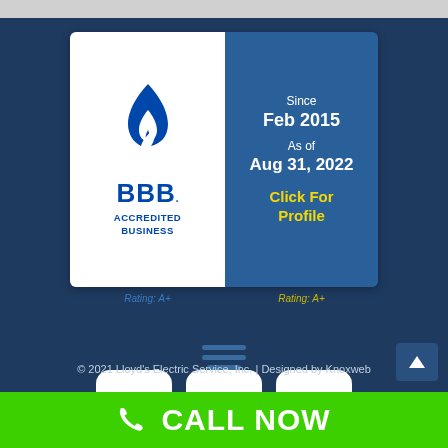[Figure (logo): BBB Accredited Business badge with Rating A+ Since Feb 2015, As of Aug 31, 2022, Click For Profile]
[Figure (infographic): Three social media icons: Facebook (f), Twitter (bird), LinkedIn (in) on white rounded square backgrounds]
[Figure (infographic): Hamburger menu icon with three horizontal lines]
© 2021 Lloyd's Electric Service, Inc. | Designed by Knoxweb
CALL NOW